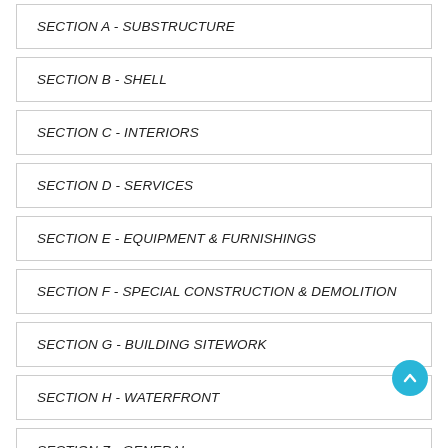SECTION A - SUBSTRUCTURE
SECTION B - SHELL
SECTION C - INTERIORS
SECTION D - SERVICES
SECTION E - EQUIPMENT & FURNISHINGS
SECTION F - SPECIAL CONSTRUCTION & DEMOLITION
SECTION G - BUILDING SITEWORK
SECTION H - WATERFRONT
SECTION Z - GENERAL